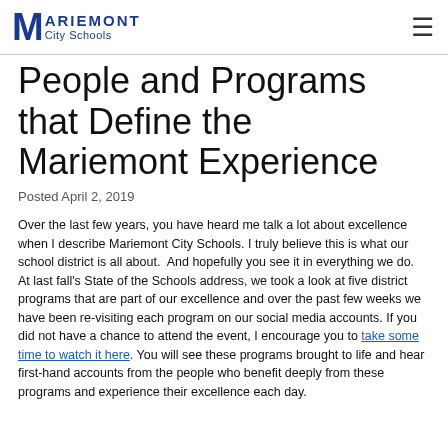Mariemont City Schools
People and Programs that Define the Mariemont Experience
Posted April 2, 2019
Over the last few years, you have heard me talk a lot about excellence when I describe Mariemont City Schools. I truly believe this is what our school district is all about.  And hopefully you see it in everything we do.
At last fall's State of the Schools address, we took a look at five district programs that are part of our excellence and over the past few weeks we have been re-visiting each program on our social media accounts. If you did not have a chance to attend the event, I encourage you to take some time to watch it here. You will see these programs brought to life and hear first-hand accounts from the people who benefit deeply from these programs and experience their excellence each day.